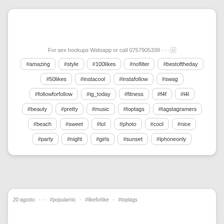For sex hookups Watsapp or call 0757905338 ··· 🇺
#amazing #style #100likes #nofilter #bestoftheday #50likes #instacool #instafollow #swag #followforfollow #ig_today #fitness #f4f #l4l #beauty #pretty #music #toptags #tagstagramers #beach #sweet #lol #photo #cool #nice #party #night #girls #sunset #iphoneonly
20 agosto · · · #popularnic · #likeforlike · #toptags